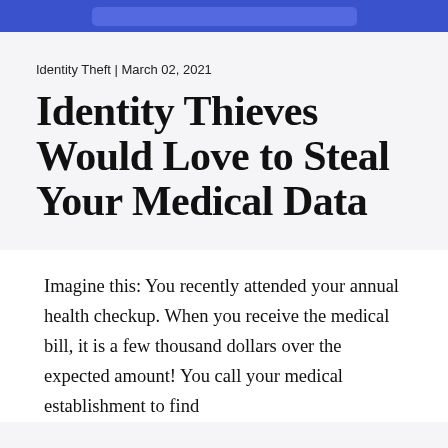[Figure (other): Blue banner/header bar at top of page with a lighter blue rounded rectangle element inside]
Identity Theft | March 02, 2021
Identity Thieves Would Love to Steal Your Medical Data
Imagine this: You recently attended your annual health checkup. When you receive the medical bill, it is a few thousand dollars over the expected amount! You call your medical establishment to find